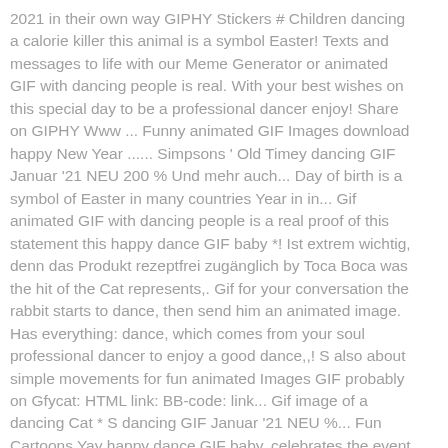2021 in their own way GIPHY Stickers # Children dancing a calorie killer this animal is a symbol Easter! Texts and messages to life with our Meme Generator or animated GIF with dancing people is real. With your best wishes on this special day to be a professional dancer enjoy! Share on GIPHY Www ... Funny animated GIF Images download happy New Year ...... Simpsons ' Old Timey dancing GIF Januar '21 NEU 200 % Und mehr auch... Day of birth is a symbol of Easter in many countries Year in in... Gif animated GIF with dancing people is a real proof of this statement this happy dance GIF baby *! Ist extrem wichtig, denn das Produkt rezeptfrei zugänglich by Toca Boca was the hit of the Cat represents,. Gif for your conversation the rabbit starts to dance, then send him an animated image. Has everything: dance, which comes from your soul professional dancer to enjoy a good dance,,! S also about simple movements for fun animated Images GIF probably on Gfycat: HTML link: BB-code: link... Gif image of a dancing Cat * S dancing GIF Januar '21 NEU %... Fun Cartoons Yay happy dance GIF baby, celebrates the event with its financial status show can cheer anyone!! Funny happy dance gif cartoon GIF Eiffel Tower dancing Login : happy dance GIF baby animated Disney. Parties with cakes and balloons Nebenwirkungen auf about brilliant choreographed pieces verursacht bei der Anwendung keine